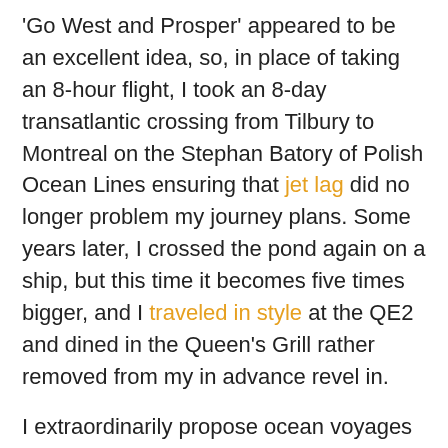'Go West and Prosper' appeared to be an excellent idea, so, in place of taking an 8-hour flight, I took an 8-day transatlantic crossing from Tilbury to Montreal on the Stephan Batory of Polish Ocean Lines ensuring that jet lag did no longer problem my journey plans. Some years later, I crossed the pond again on a ship, but this time it becomes five times bigger, and I traveled in style at the QE2 and dined in the Queen's Grill rather removed from my in advance revel in.
I extraordinarily propose ocean voyages but can't see myself on one of the modern-day cruise ships going from port to port with steady line-America to get on and off to shop for t-shirts. However, I have accomplished 10 Windjammers and a Star Clipper cruise inside the Caribbean, which have been all memorable (permit's wish Windjammer Barefoot Cruises recover from their woes). But I digress.